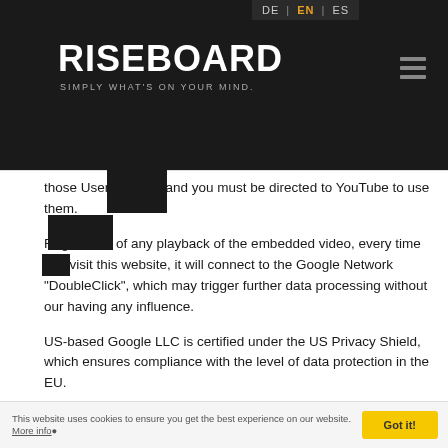[Figure (logo): Riseboard logo with dark background, language selector (DE | EN | ES), white bold text RISEBOARD, tagline SIMPLY WHAT'S ON YOUR MIND, and hamburger menu icon on right]
those User Profiles, and you must be directed to YouTube to use them.
Regardless of any playback of the embedded video, every time you visit this website, it will connect to the Google Network "DoubleClick", which may trigger further data processing without our having any influence.
US-based Google LLC is certified under the US Privacy Shield, which ensures compliance with the level of data protection in the EU.
For more information on data protection at "YouTube", please see the provider's privacy policy at:
https://www.google.com/intl/en/policies/privacy
This website uses cookies to ensure you get the best experience on our website. More info. Got it!